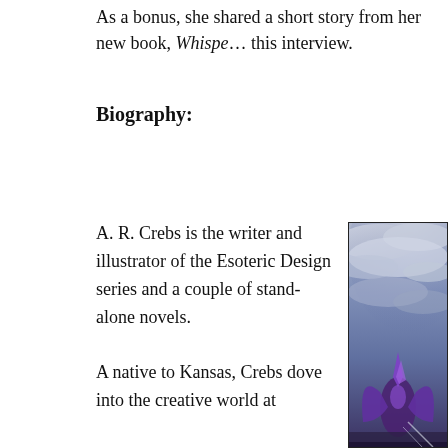As a bonus, she shared a short story from her new book, Whispe… this interview.
Biography:
A. R. Crebs is the writer and illustrator of the Esoteric Design series and a couple of stand-alone novels.
A native to Kansas, Crebs dove into the creative world at
[Figure (photo): Dramatic fantasy/digital art photo showing a figure with purple wings or cloak against a stormy purple-grey sky with dramatic lighting and clouds.]